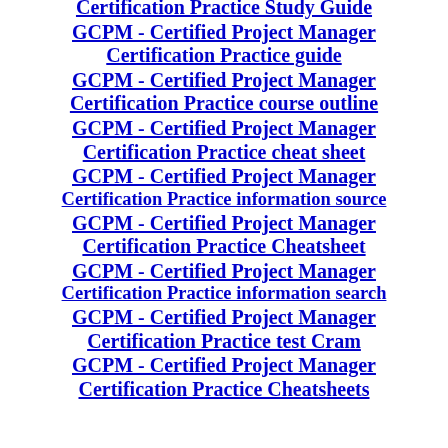Certification Practice Study Guide
GCPM - Certified Project Manager Certification Practice guide
GCPM - Certified Project Manager Certification Practice course outline
GCPM - Certified Project Manager Certification Practice cheat sheet
GCPM - Certified Project Manager Certification Practice information source
GCPM - Certified Project Manager Certification Practice Cheatsheet
GCPM - Certified Project Manager Certification Practice information search
GCPM - Certified Project Manager Certification Practice test Cram
GCPM - Certified Project Manager Certification Practice Cheatsheet